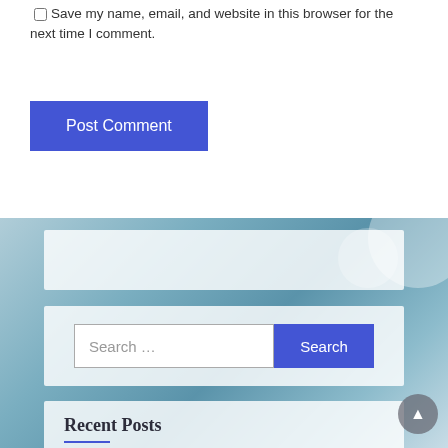Save my name, email, and website in this browser for the next time I comment.
Post Comment
[Figure (screenshot): Blurred teal/blue bokeh background with white circular light blobs]
Search ...
Recent Posts
Best Veg Restaurants in Gangtok